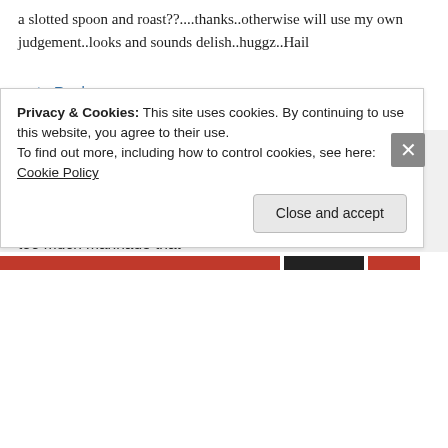a slotted spoon and roast??....thanks..otherwise will use my own judgement..looks and sounds delish..huggz..Hail
↪ Reply
Can't live without.... on October 5, 2013 at 7:28 pm
You can just scoop the pieces. I usually don't end up with too much marinade that
Privacy & Cookies: This site uses cookies. By continuing to use this website, you agree to their use. To find out more, including how to control cookies, see here: Cookie Policy
Close and accept